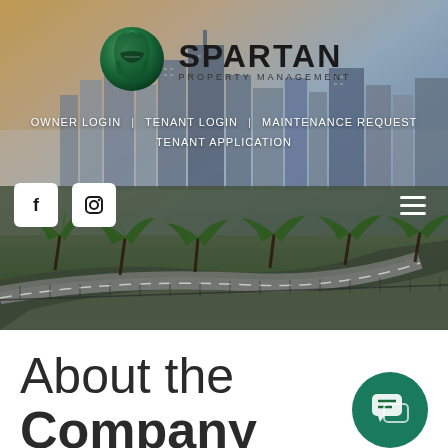[Figure (screenshot): Spartan Property Management website screenshot showing city skyline hero image with logo, navigation links, social media icons, hamburger menu, road/palm tree photo, and 'About the Company' heading]
About the Company